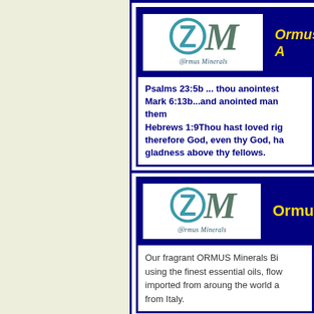[Figure (logo): Ormus Minerals logo with OM letters in teal/ocean style and text 'Ormus Minerals' below]
Ormus A
Psalms 23:5b ... thou anointest Mark 6:13b...and anointed man them Hebrews 1:9Thou hast loved rig therefore God, even thy God, ha gladness above thy fellows.
[Figure (logo): Ormus Minerals logo with OM letters in teal/ocean style and text 'Ormus Minerals' below]
Ormus
Our fragrant ORMUS Minerals Bi using the finest essential oils, flow imported from around the world a from Italy.